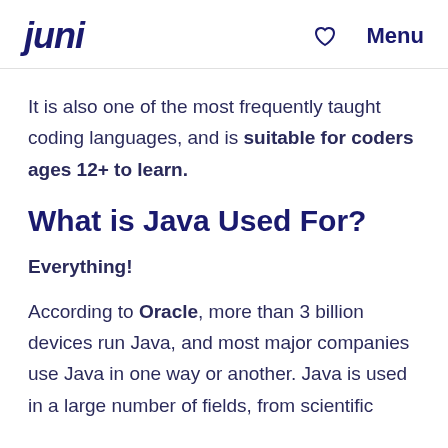juni  ♡  Menu
It is also one of the most frequently taught coding languages, and is suitable for coders ages 12+ to learn.
What is Java Used For?
Everything!
According to Oracle, more than 3 billion devices run Java, and most major companies use Java in one way or another. Java is used in a large number of fields, from scientific